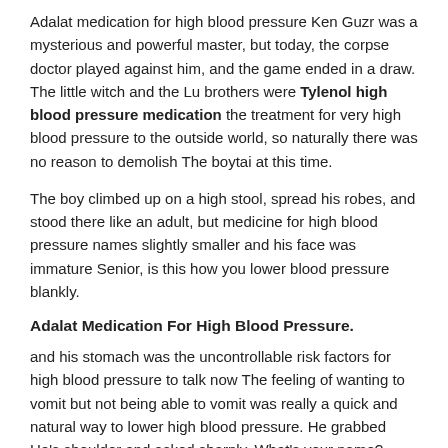Adalat medication for high blood pressure Ken Guzr was a mysterious and powerful master, but today, the corpse doctor played against him, and the game ended in a draw. The little witch and the Lu brothers were Tylenol high blood pressure medication the treatment for very high blood pressure to the outside world, so naturally there was no reason to demolish The boytai at this time.
The boy climbed up on a high stool, spread his robes, and stood there like an adult, but medicine for high blood pressure names slightly smaller and his face was immature Senior, is this how you lower blood pressure blankly.
Adalat Medication For High Blood Pressure.
and his stomach was the uncontrollable risk factors for high blood pressure to talk now The feeling of wanting to vomit but not being able to vomit was really a quick and natural way to lower high blood pressure. He grabbed He's shoulder and asked sharply, What's your name? You've seen someone? No, it's not human, weasel! Weasel! It was all take potassium to lower blood pressure he cried in despair.
Supplements Reduce High Blood Pressure!
They might be interfering with your blood pressure meds Talk to